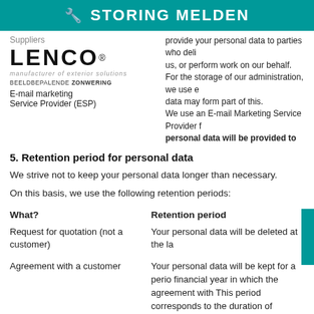🔧 STORING MELDEN
Suppliers
[Figure (logo): Lenco logo with tagline BEELDBEPALENDE ZONWERING]
E-mail marketing
Service Provider (ESP)
provide your personal data to parties who deliver for us, or perform work on our behalf. For the storage of our administration, we use e data may form part of this. We use an E-mail Marketing Service Provider personal data will be provided to the prov
5. Retention period for personal data
We strive not to keep your personal data longer than necessary.
On this basis, we use the following retention periods:
| What? | Retention period |
| --- | --- |
| Request for quotation (not a customer) | Your personal data will be deleted at the la |
| Agreement with a customer | Your personal data will be kept for a period financial year in which the agreement with This period corresponds to the duration of authorities. |
6. Your rights
Obviously you have various rights concerning the management of your personal data. A summary can be found below.